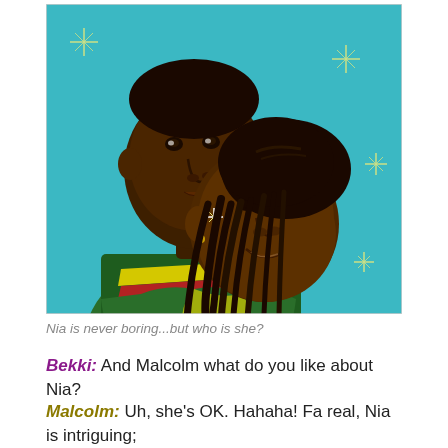[Figure (illustration): Digital illustration of two characters on a teal/turquoise background with yellow sparkle/star decorations. In the background, a tall young Black man wearing a green, yellow, and red striped long-sleeve shirt looks forward with a serious expression. In the foreground, a young Black woman with long dreadlocks pulled back looks slightly upward with a subtle smile and a small earring. The illustration has a flat, stylized, graphic art style.]
Nia is never boring...but who is she?
Bekki: And Malcolm what do you like about Nia?
Malcolm: Uh, she's OK. Hahaha! Fa real, Nia is intriguing; never boring.